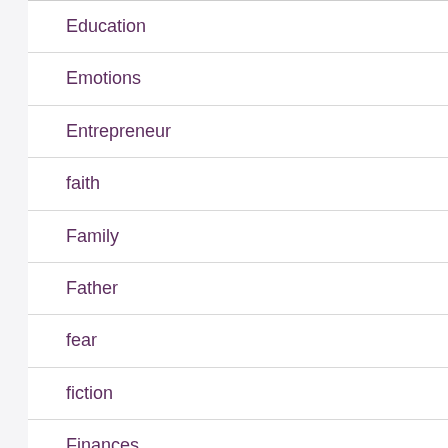Education
Emotions
Entrepreneur
faith
Family
Father
fear
fiction
Finances